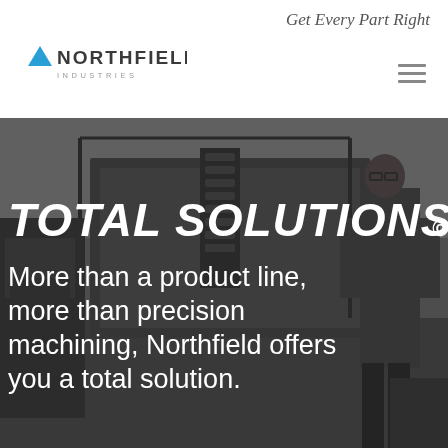Get Every Part Right
[Figure (logo): Northfield Industries logo with blue triangle and company name]
[Figure (photo): Grayscale industrial photo of a manufacturing facility with a man in glasses standing among large machinery. Overlaid with the headline TOTAL SOLUTIONS© and subtext.]
TOTAL SOLUTIONS©
More than a product line, more than precision machining, Northfield offers you a total solution.